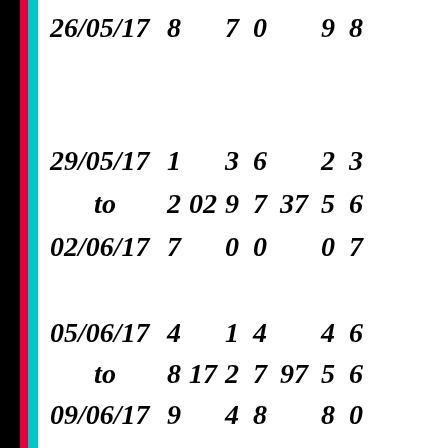| 26/05/17 | 8 |  | 7 | 0 |  | 9 | 8 |
| 29/05/17 | 1 |  | 3 | 6 |  | 2 | 3 |
| to | 2 | 02 | 9 | 7 | 37 | 5 | 6 |
| 02/06/17 | 7 |  | 0 | 0 |  | 0 | 7 |
| 05/06/17 | 4 |  | 1 | 4 |  | 4 | 6 |
| to | 8 | 17 | 2 | 7 | 97 | 5 | 6 |
| 09/06/17 | 9 |  | 4 | 8 |  | 8 | 0 |
| 12/06/17 | 1(red) |  | 7(red) | 1 |  | 4 | 2(red) |
| to | 5(red) | 27(red) | 0(red) | 3 | 08(red) | 6 | 7(red) |